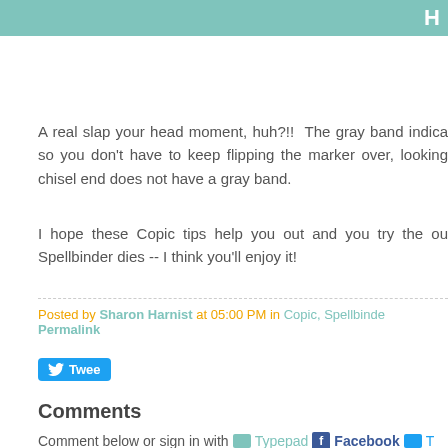H
A real slap your head moment, huh?!!  The gray band indica so you don't have to keep flipping the marker over, looking chisel end does not have a gray band.
I hope these Copic tips help you out and you try the ou Spellbinder dies -- I think you'll enjoy it!
Posted by Sharon Harnist at 05:00 PM in Copic, Spellbinde Permalink
[Figure (other): Tweet button]
Comments
Comment below or sign in with Typepad Facebook T